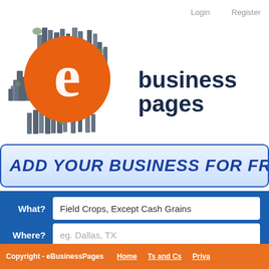Login   Register
[Figure (logo): eBusinessPages logo: orange circle with white 'e' letter surrounded by stylized city buildings, with 'business pages' text in dark blue]
ADD YOUR BUSINESS FOR FR
What?  Field Crops, Except Cash Grains
Where?  eg. Dallas, TX
Copyright - eBusinessPages   Home   Ts and Cs   Priva